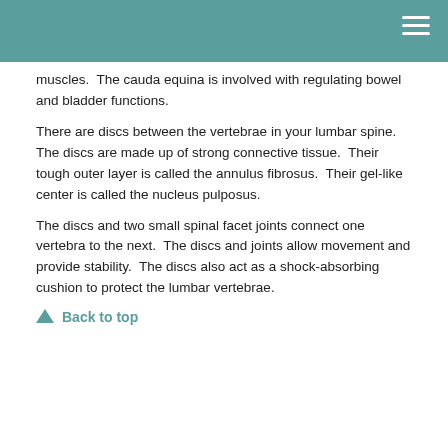muscles.  The cauda equina is involved with regulating bowel and bladder functions.
There are discs between the vertebrae in your lumbar spine.  The discs are made up of strong connective tissue.  Their tough outer layer is called the annulus fibrosus.  Their gel-like center is called the nucleus pulposus.
The discs and two small spinal facet joints connect one vertebra to the next.  The discs and joints allow movement and provide stability.  The discs also act as a shock-absorbing cushion to protect the lumbar vertebrae.
Back to top